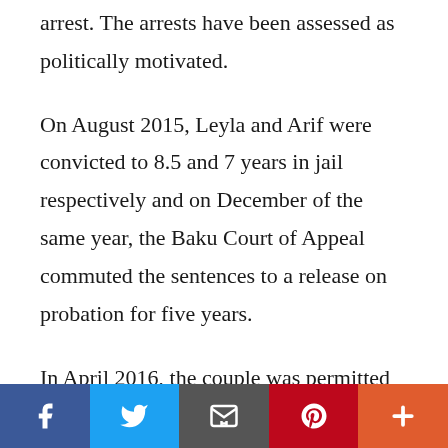arrest. The arrests have been assessed as politically motivated.
On August 2015, Leyla and Arif were convicted to 8.5 and 7 years in jail respectively and on December of the same year, the Baku Court of Appeal commuted the sentences to a release on probation for five years.
In April 2016, the couple was permitted to travel abroad in order to receive medical treatment and received political asylum in
[Figure (infographic): Social media sharing bar with five buttons: Facebook (blue), Twitter (light blue), Email/envelope (dark grey), Pinterest (red), More/plus (orange-red)]